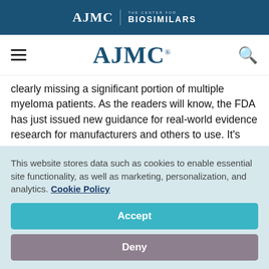AJMC | THE CENTER FOR BIOSIMILARS
[Figure (logo): AJMC logo with hamburger menu and search icon navigation bar]
clearly missing a significant portion of multiple myeloma patients. As the readers will know, the FDA has just issued new guidance for real-world evidence research for manufacturers and others to use. It's now very, very expensive to do phase 3 randomized clinical trials, and if you can start to use real-world evidence to help us with trial design and
This website stores data such as cookies to enable essential site functionality, as well as marketing, personalization, and analytics. Cookie Policy
Accept
Deny